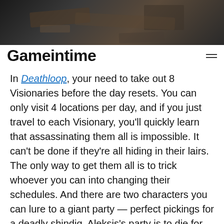[Figure (photo): Dark action/game screenshot showing weapons or machinery, partially visible at top of page]
Gameintime
In Deathloop, your need to take out 8 Visionaries before the day resets. You can only visit 4 locations per day, and if you just travel to each Visionary, you'll quickly learn that assassinating them all is impossible. It can't be done if they're all hiding in their lairs. The only way to get them all is to trick whoever you can into changing their schedules. And there are two characters you can lure to a giant party — perfect pickings for a deadly shindig. Aleksis's party is to die for, and if you play your cards right, you can gather 3/8 targets to one singular location.
Suddenly Colt's quest to kill all 8 Visionaries is